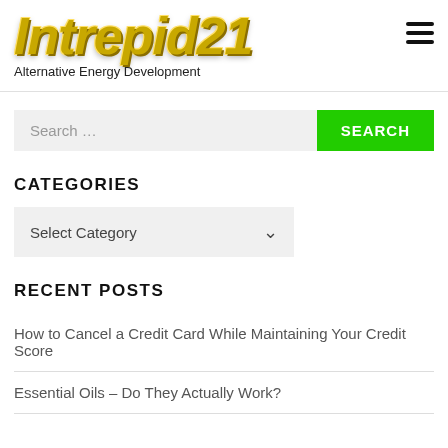[Figure (logo): Intrepid21 stylized italic logo in gold/yellow metallic text]
Alternative Energy Development
Search …
CATEGORIES
Select Category
RECENT POSTS
How to Cancel a Credit Card While Maintaining Your Credit Score
Essential Oils – Do They Actually Work?